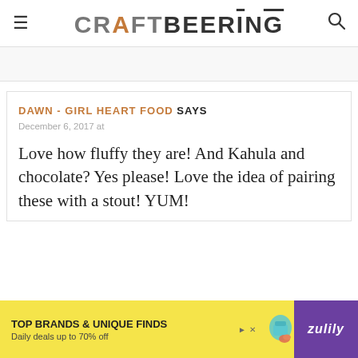CRAFTBEERING
DAWN - GIRL HEART FOOD SAYS
December 6, 2017 at
Love how fluffy they are! And Kahula and chocolate? Yes please! Love the idea of pairing these with a stout! YUM!
[Figure (infographic): Bottom advertisement banner: TOP BRANDS & UNIQUE FINDS, Daily deals up to 70% off, Zulily brand with shoe and bag graphics, yellow background with purple Zulily logo on right]